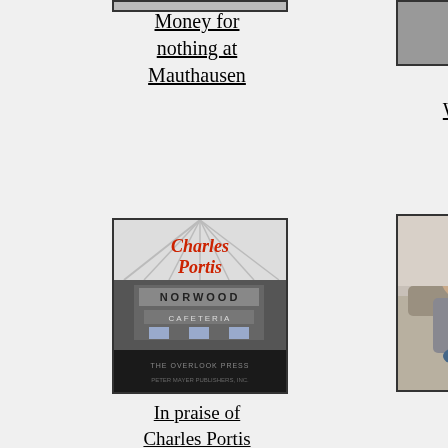[Figure (photo): Partial image at top left, cropped]
Money for nothing at Mauthausen
[Figure (photo): Black and white photo of a person at top right]
The White Witch in a suit from Talbot's
[Figure (illustration): Book cover of Charles Portis Norwood]
In praise of Charles Portis
[Figure (photo): Two women sitting on a couch]
“The Kids” ain’t quite all right
[Figure (photo): Black and white portrait of an older man wearing a hat]
A new look at an old serial